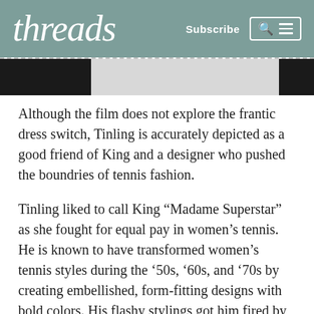threads | Subscribe
[Figure (photo): Partial photo strip showing dark edges on left and right with lighter center, cropped at top of page]
Although the film does not explore the frantic dress switch, Tinling is accurately depicted as a good friend of King and a designer who pushed the boundries of tennis fashion.
Tinling liked to call King “Madame Superstar” as she fought for equal pay in women’s tennis. He is known to have transformed women’s tennis styles during the ’50s, ’60s, and ’70s by creating embellished, form-fitting designs with bold colors. His flashy stylings got him fired by Wimbeldon early in his career, but his creations were latter donned by tennis greats like